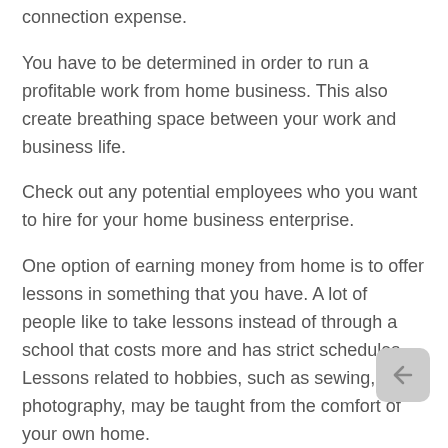connection expense.
You have to be determined in order to run a profitable work from home business. This also create breathing space between your work and business life.
Check out any potential employees who you want to hire for your home business enterprise.
One option of earning money from home is to offer lessons in something that you have. A lot of people like to take lessons instead of through a school that costs more and has strict schedules. Lessons related to hobbies, such as sewing, photography, may be taught from the comfort of your own home.
Set daily goals that you want to achieve daily. There